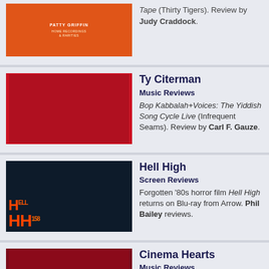Tape (Thirty Tigers). Review by Judy Craddock. Music Reviews
Ty Citerman. Music Reviews. Bop Kabbalah+Voices: The Yiddish Song Cycle Live (Infrequent Seams). Review by Carl F. Gauze.
Hell High. Screen Reviews. Forgotten ’80s horror film Hell High returns on Blu-ray from Arrow. Phil Bailey reviews.
Cinema Hearts. Music Reviews. Your Ideal (Self Released). Review by Carl F. Gauze.